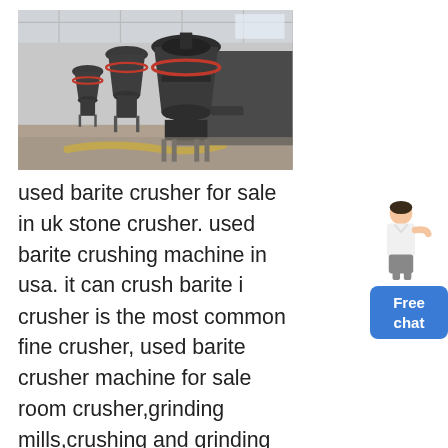[Figure (photo): Industrial stone crushers / cone crushers in a factory/warehouse setting. Multiple large dark grey cone crusher machines on a concrete floor with yellow hose visible.]
used barite crusher for sale in uk stone crusher. used barite crushing machine in usa. it can crush barite i crusher is the most common fine crusher, used barite crusher machine for sale room crusher,grinding mills,crushing and grinding for sale. a has barite grinding
[Figure (illustration): Customer service representative figure (woman in white shirt) with blue Free chat button below]